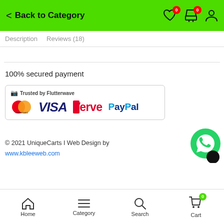Back to Category
Description   Reviews (18)
100% secured payment
[Figure (screenshot): Payment methods banner: Trusted by Flutterwave, showing Mastercard, VISA, Verve, and PayPal logos]
© 2021 UniqueCarts I Web Design by www.kbleeweb.com
Home  Category  Search  Cart